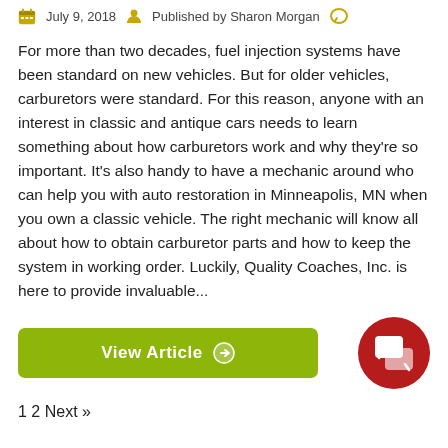July 9, 2018  Published by Sharon Morgan
For more than two decades, fuel injection systems have been standard on new vehicles. But for older vehicles, carburetors were standard. For this reason, anyone with an interest in classic and antique cars needs to learn something about how carburetors work and why they're so important. It's also handy to have a mechanic around who can help you with auto restoration in Minneapolis, MN when you own a classic vehicle. The right mechanic will know all about how to obtain carburetor parts and how to keep the system in working order. Luckily, Quality Coaches, Inc. is here to provide invaluable...
View Article
1 2 Next »